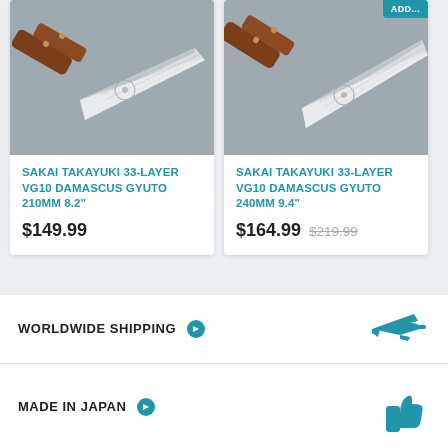[Figure (photo): Photo of Sakai Takayuki 33-Layer VG10 Damascus Gyuto 210mm knife with wooden handle on gray surface]
SAKAI TAKAYUKI 33-LAYER VG10 DAMASCUS GYUTO 210MM 8.2"
$149.99
[Figure (photo): Photo of Sakai Takayuki 33-Layer VG10 Damascus Gyuto 240mm knife with wooden handle on gray surface]
SAKAI TAKAYUKI 33-LAYER VG10 DAMASCUS GYUTO 240MM 9.4"
$164.99  $219.99
WORLDWIDE SHIPPING
MADE IN JAPAN